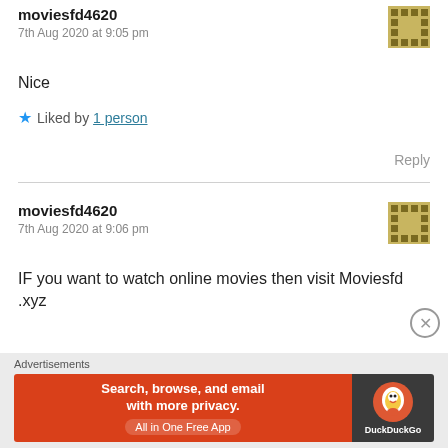moviesfd4620
7th Aug 2020 at 9:05 pm
Nice
★ Liked by 1 person
Reply
moviesfd4620
7th Aug 2020 at 9:06 pm
IF you want to watch online movies then visit Moviesfd .xyz
[Figure (infographic): DuckDuckGo advertisement banner: 'Search, browse, and email with more privacy. All in One Free App' with DuckDuckGo logo on dark right panel. Labeled 'Advertisements'.]